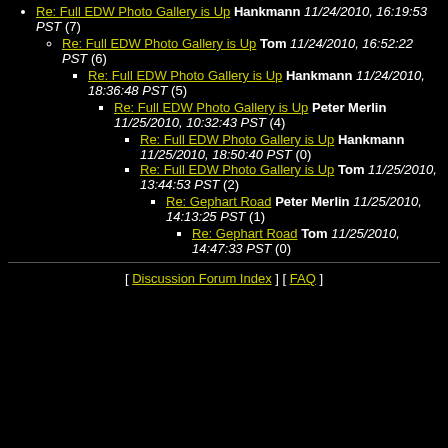Re: Full EDW Photo Gallery is Up Hankmann 11/24/2010, 16:19:53 PST (7)
Re: Full EDW Photo Gallery is Up Tom 11/24/2010, 16:52:22 PST (6)
Re: Full EDW Photo Gallery is Up Hankmann 11/24/2010, 18:36:48 PST (5)
Re: Full EDW Photo Gallery is Up Peter Merlin 11/25/2010, 10:32:43 PST (4)
Re: Full EDW Photo Gallery is Up Hankmann 11/25/2010, 18:50:40 PST (0)
Re: Full EDW Photo Gallery is Up Tom 11/25/2010, 13:44:53 PST (2)
Re: Gephart Road Peter Merlin 11/25/2010, 14:13:25 PST (1)
Re: Gephart Road Tom 11/25/2010, 14:47:33 PST (0)
[ Discussion Forum Index ] [ FAQ ]